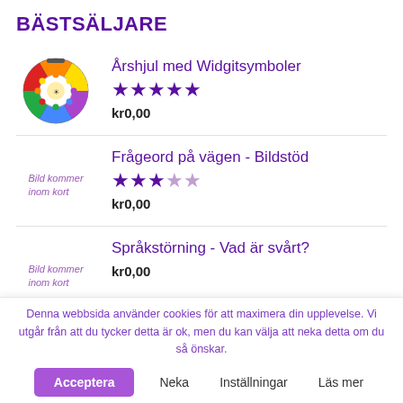BÄSTSÄLJARE
Årshjul med Widgitsymboler, 5 stars, kr0,00
Frågeord på vägen - Bildstöd, 2.5 stars, kr0,00
Språkstörning - Vad är svårt? kr0,00
Denna webbsida använder cookies för att maximera din upplevelse. Vi utgår från att du tycker detta är ok, men du kan välja att neka detta om du så önskar.